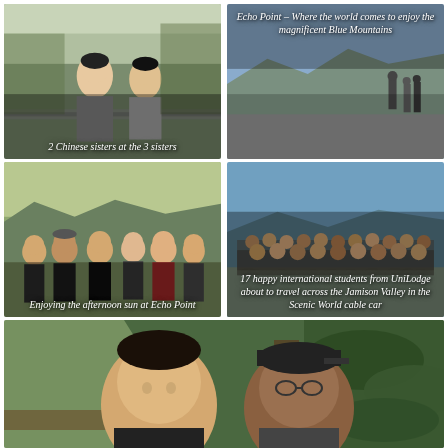[Figure (photo): 2 Chinese sisters posing at the Three Sisters rock formation, Blue Mountains. Caption: '2 Chinese sisters at the 3 sisters']
[Figure (photo): View of Echo Point with visitors and Blue Mountains landscape. Caption: 'Echo Point – Where the world comes to enjoy the magnificent Blue Mountains']
[Figure (photo): Group of international students posing at Echo Point in afternoon sun. Caption: 'Enjoying the afternoon sun at Echo Point']
[Figure (photo): Large group of 17 international students from UniLodge ready to travel across Jamison Valley in Scenic World cable car. Caption: '17 happy international students from UniLodge about to travel across the Jamison Valley in the Scenic World cable car']
[Figure (photo): Two young men smiling for a selfie in a forested area with ferns in Blue Mountains.]